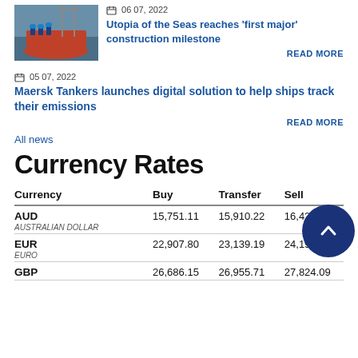06 07, 2022
Utopia of the Seas reaches 'first major' construction milestone
READ MORE
05 07, 2022
Maersk Tankers launches digital solution to help ships track their emissions
READ MORE
All news
Currency Rates
| Currency | Buy | Transfer | Sell |
| --- | --- | --- | --- |
| AUD
AUSTRALIAN DOLLAR | 15,751.11 | 15,910.22 | 16,422.77 |
| EUR
EURO | 22,907.80 | 23,139.19 | 24,190.54 |
| GBP | 26,686.15 | 26,955.71 | 27,824.09 |